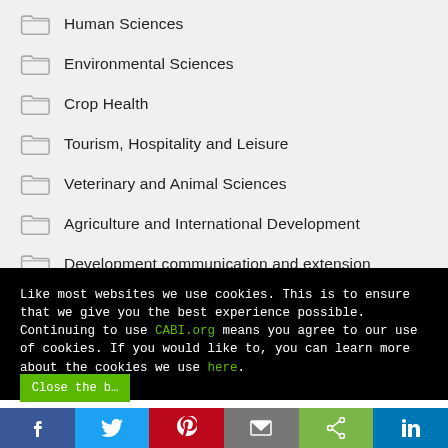Human Sciences
Environmental Sciences
Crop Health
Tourism, Hospitality and Leisure
Veterinary and Animal Sciences
Agriculture and International Development
Development communication and extension
Digital development
Invasive species
Like most websites we use cookies. This is to ensure that we give you the best experience possible. Continuing to use CABI.org means you agree to our use of cookies. If you would like to, you can learn more about the cookies we use here.